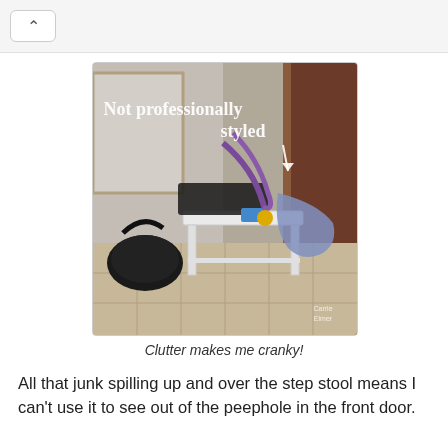[Figure (photo): Photo of a cluttered white step stool near a front door entryway. Bags, purses with purple straps, a blue cloth, and various items are piled on and around it. Text overlay reads 'Not professionally styled' with a downward arrow. Watermark reads 'Carrie Elmer' in bottom right.]
Clutter makes me cranky!
All that junk spilling up and over the step stool means I can't use it to see out of the peephole in the front door.